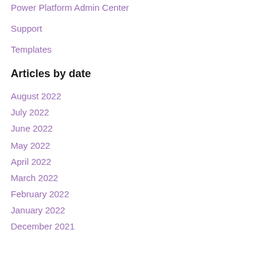Power Platform Admin Center
Support
Templates
Articles by date
August 2022
July 2022
June 2022
May 2022
April 2022
March 2022
February 2022
January 2022
December 2021